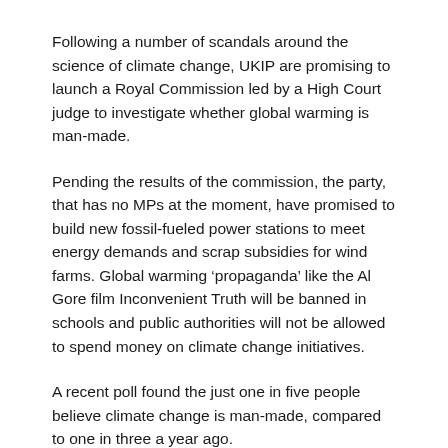Following a number of scandals around the science of climate change, UKIP are promising to launch a Royal Commission led by a High Court judge to investigate whether global warming is man-made.
Pending the results of the commission, the party, that has no MPs at the moment, have promised to build new fossil-fueled power stations to meet energy demands and scrap subsidies for wind farms. Global warming ‘propaganda’ like the Al Gore film Inconvenient Truth will be banned in schools and public authorities will not be allowed to spend money on climate change initiatives.
A recent poll found the just one in five people believe climate change is man-made, compared to one in three a year ago.
The survey of 1,000 people found people over 65 were more likely to be skeptical.